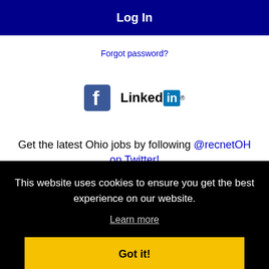Log In
Forgot password?
[Figure (logo): Facebook and LinkedIn social media logos side by side]
Get the latest Ohio jobs by following @recnetOH on Twitter!
This website uses cookies to ensure you get the best experience on our website.
Learn more
Got it!
Search Toledo jobs